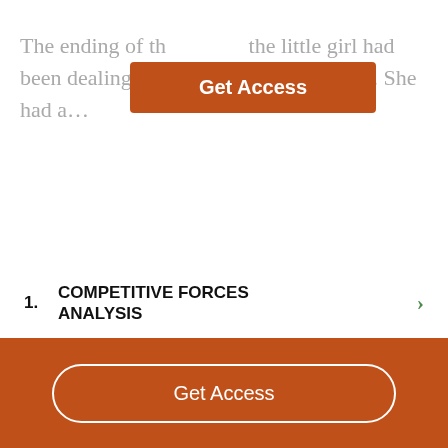The ending of th... the little girl had been dealing... of internal conflict. She had a...
[Figure (screenshot): Orange 'Get Access' button overlaid on blurred text]
1. COMPETITIVE FORCES ANALYSIS
2. PORTER'S FIVE FORCES ANALYSIS
3. FIVE FORCES MODEL
Get Access